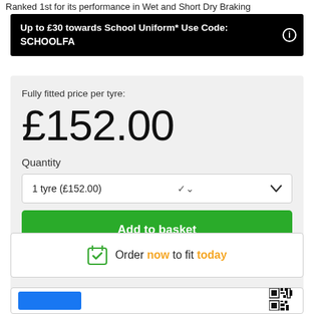Ranked 1st for its performance in Wet and Short Dry Braking
Up to £30 towards School Uniform* Use Code: SCHOOLFA
Fully fitted price per tyre:
£152.00
Quantity
1 tyre (£152.00)
Add to basket
Order now to fit today